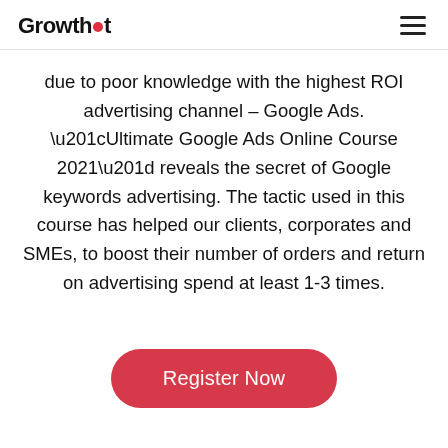GrowthSpot
due to poor knowledge with the highest ROI advertising channel – Google Ads. “Ultimate Google Ads Online Course 2021” reveals the secret of Google keywords advertising. The tactic used in this course has helped our clients, corporates and SMEs, to boost their number of orders and return on advertising spend at least 1-3 times.
Register Now